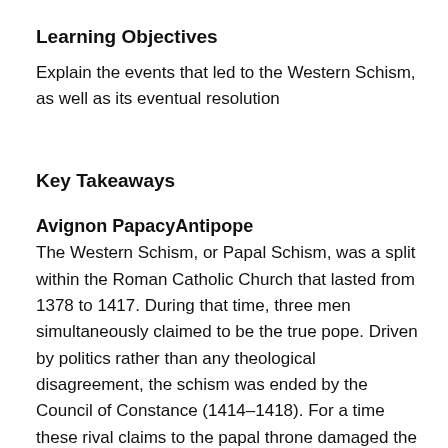Learning Objectives
Explain the events that led to the Western Schism, as well as its eventual resolution
Key Takeaways
Avignon PapacyAntipope
The Western Schism, or Papal Schism, was a split within the Roman Catholic Church that lasted from 1378 to 1417. During that time, three men simultaneously claimed to be the true pope. Driven by politics rather than any theological disagreement, the schism was ended by the Council of Constance (1414–1418). For a time these rival claims to the papal throne damaged the reputation of the office.
Origin
The schism in the Western Roman Church resulted